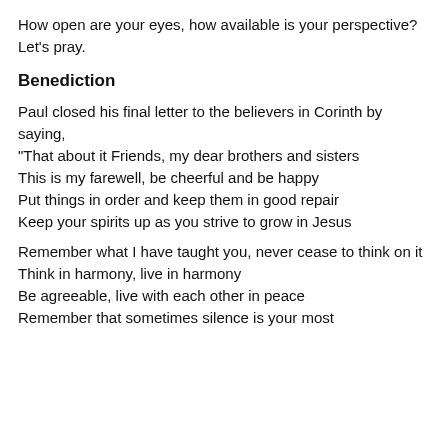How open are your eyes, how available is your perspective?
Let's pray.
Benediction
Paul closed his final letter to the believers in Corinth by saying,
"That about it Friends, my dear brothers and sisters
This is my farewell, be cheerful and be happy
Put things in order and keep them in good repair
Keep your spirits up as you strive to grow in Jesus
Remember what I have taught you, never cease to think on it
Think in harmony, live in harmony
Be agreeable, live with each other in peace
Remember that sometimes silence is your most